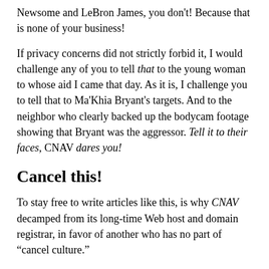Newsome and LeBron James, you don't! Because that is none of your business!
If privacy concerns did not strictly forbid it, I would challenge any of you to tell that to the young woman to whose aid I came that day. As it is, I challenge you to tell that to Ma'Khia Bryant's targets. And to the neighbor who clearly backed up the bodycam footage showing that Bryant was the aggressor. Tell it to their faces, CNAV dares you!
Cancel this!
To stay free to write articles like this, is why CNAV decamped from its long-time Web host and domain registrar, in favor of another who has no part of “cancel culture.”
Already, as Candace Owens and Steven Turley, PhD have